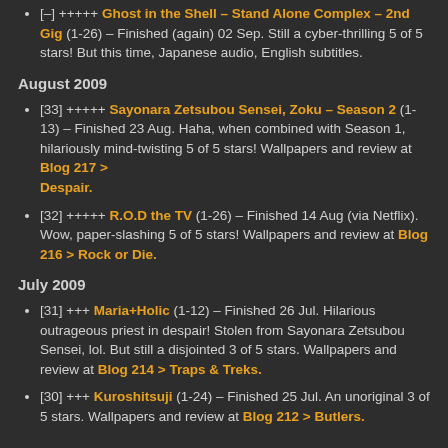[–] +++++ Ghost in the Shell – Stand Alone Complex – 2nd Gig (1-26) – Finished (again) 02 Sep. Still a cyber-thrilling 5 of 5 stars! But this time, Japanese audio, English subtitles.
August 2009
[33] +++++ Sayonara Zetsubou Sensei, Zoku – Season 2 (1-13) – Finished 23 Aug. Haha, when combined with Season 1, hilariously mind-twisting 5 of 5 stars! Wallpapers and review at Blog 217 > Despair.
[32] +++++ R.O.D the TV (1-26) – Finished 14 Aug (via Netflix). Wow, paper-slashing 5 of 5 stars! Wallpapers and review at Blog 216 > Rock or Die.
July 2009
[31] +++ Maria+Holic (1-12) – Finished 26 Jul. Hilarious outrageous priest in despair! Stolen from Sayonara Zetsubou Sensei, lol. But still a disjointed 3 of 5 stars. Wallpapers and review at Blog 214 > Traps & Treks.
[30] +++ Kuroshitsuji (1-24) – Finished 25 Jul. An unoriginal 3 of 5 stars. Wallpapers and review at Blog 212 > Butlers.